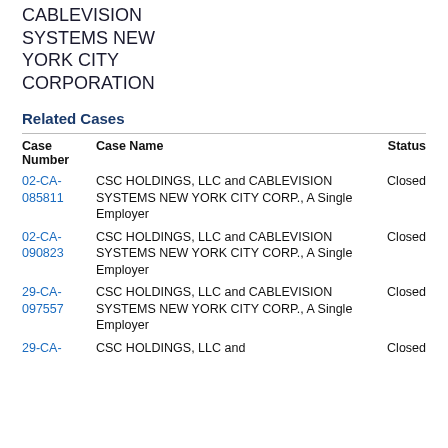CABLEVISION SYSTEMS NEW YORK CITY CORPORATION
Related Cases
| Case Number | Case Name | Status |
| --- | --- | --- |
| 02-CA-085811 | CSC HOLDINGS, LLC and CABLEVISION SYSTEMS NEW YORK CITY CORP., A Single Employer | Closed |
| 02-CA-090823 | CSC HOLDINGS, LLC and CABLEVISION SYSTEMS NEW YORK CITY CORP., A Single Employer | Closed |
| 29-CA-097557 | CSC HOLDINGS, LLC and CABLEVISION SYSTEMS NEW YORK CITY CORP., A Single Employer | Closed |
| 29-CA-... | CSC HOLDINGS, LLC and ... | Closed |